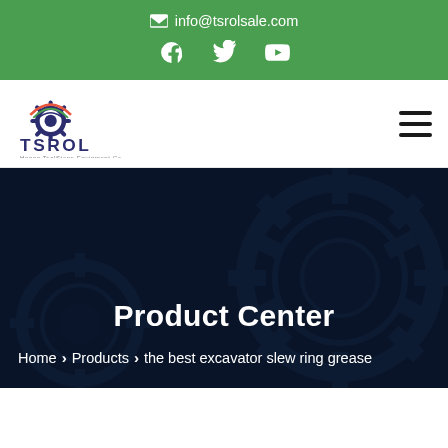info@tsrolsale.com
[Figure (logo): TSROL company logo with gear icon]
Product Center
Home > Products > the best excavator slew ring grease